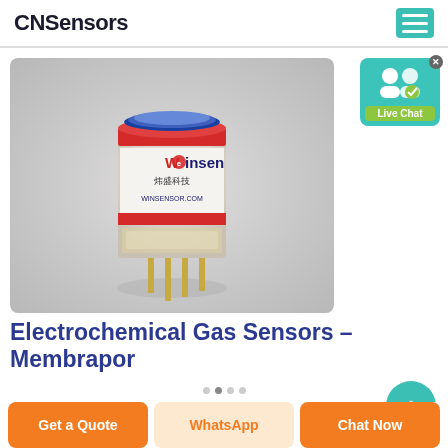CNSensors
[Figure (photo): Winsen electrochemical gas sensor component with cylindrical body, blue top ring, red stripe, white label reading 'Winsen 炜盛科技 WINSENSOR.COM', and gold pin connectors at base, photographed on grey background.]
[Figure (screenshot): Live Chat widget button with teal background, white user icons, and green 'Live Chat' label.]
Electrochemical Gas Sensors – Membrapor
Get a Quote
WhatsApp
Chat Now